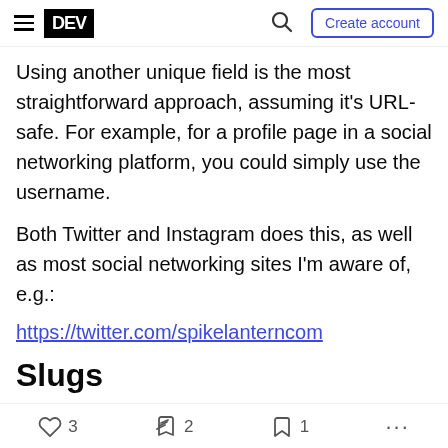DEV | Create account
Using another unique field is the most straightforward approach, assuming it's URL-safe. For example, for a profile page in a social networking platform, you could simply use the username.
Both Twitter and Instagram does this, as well as most social networking sites I'm aware of, e.g.:
https://twitter.com/spikelanterncom
Slugs
In many cases it may be appropriate to use something called a "slug". Django has a built-in field for this called slugfield, and in their documentation
3  2  1  ...